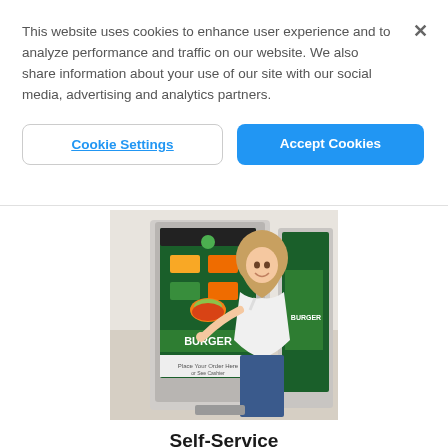This website uses cookies to enhance user experience and to analyze performance and traffic on our website. We also share information about your use of our site with our social media, advertising and analytics partners.
[Figure (screenshot): Cookie consent banner with two buttons: 'Cookie Settings' (outlined) and 'Accept Cookies' (blue filled), and an X close button]
[Figure (photo): A woman with blonde hair smiling and using a self-service kiosk touchscreen showing a burger menu in a fast food restaurant]
Self-Service